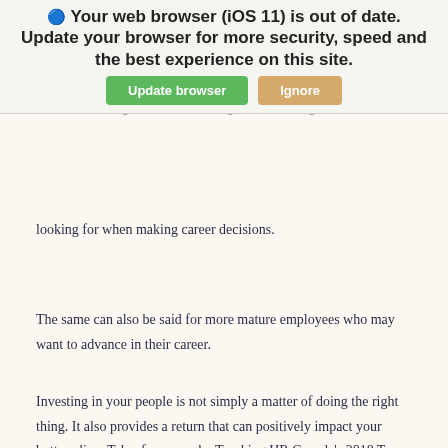[Figure (screenshot): Browser update warning banner with title 'Your web browser (iOS 11) is out of date. Update your browser for more security, speed and the best experience on this site.' and two buttons: 'Update browser' (green) and 'Ignore' (orange/tan).]
Trucking HR Canada's Millennials Have Drive report indicates that access to training and professional development as well as career advancement are two key factors that those ages 18 to 35 are looking for when making career decisions.
The same can also be said for more mature employees who may want to advance in their career.
Investing in your people is not simply a matter of doing the right thing. It also provides a return that can positively impact your bottom line. Take, for example, Trucking HR Canada's 2018 Top Fleet Employers. 100% of them have a formal commitment toward training, professional development or on-the-job coaching.
And they are reaping the benefits. 94% of them reported a turnover rate below 30% in 2017. They also reported higher than industry average representation of both young workers and women in their